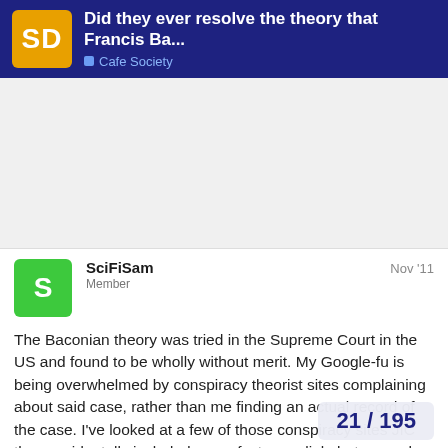SD — Did they ever resolve the theory that Francis Ba... — Cafe Society
The Baconian theory was tried in the Supreme Court in the US and found to be wholly without merit. My Google-fu is being overwhelmed by conspiracy theorist sites complaining about said case, rather than me finding an actual record of the case. I've looked at a few of those conspiracy sites JIC they accidentally included some facts or a link, but no such luck - and God, the evidence they come up with almo... sorry for them.
21 / 195